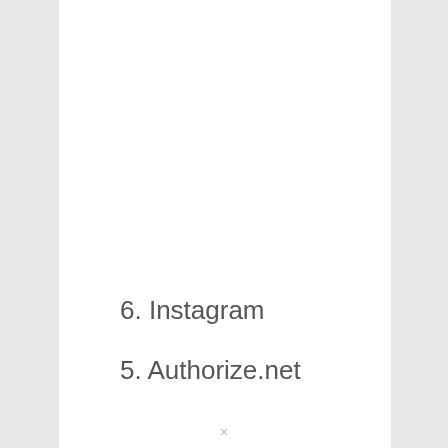6. Instagram
5. Authorize.net
×